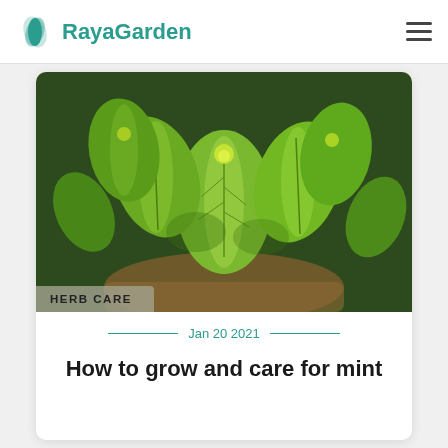RayaGarden
[Figure (photo): Close-up photo of green mint leaves growing in a pot]
HERB CARE
Jan 20 2021
How to grow and care for mint